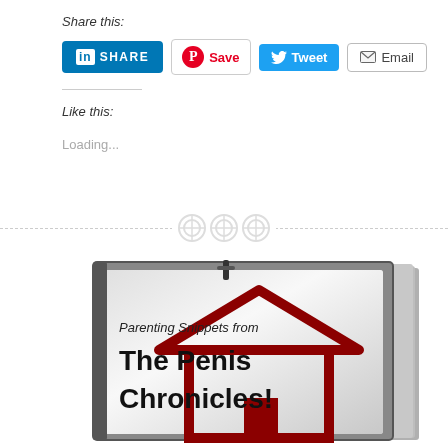Share this:
[Figure (screenshot): Social share buttons: LinkedIn SHARE, Pinterest Save, Twitter Tweet, Email]
Like this:
Loading...
[Figure (illustration): Book cover: Parenting Snippets from The Penis Chronicles! with house/urinal graphic on silver background]